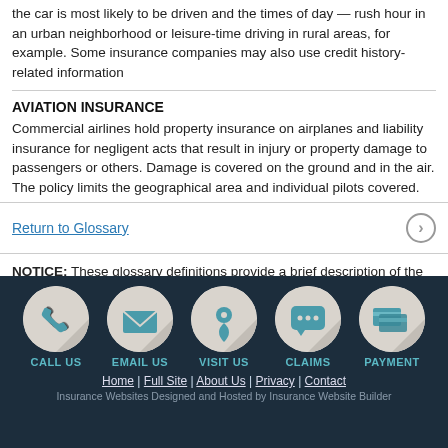the car is most likely to be driven and the times of day — rush hour in an urban neighborhood or leisure-time driving in rural areas, for example. Some insurance companies may also use credit history-related information
AVIATION INSURANCE
Commercial airlines hold property insurance on airplanes and liability insurance for negligent acts that result in injury or property damage to passengers or others. Damage is covered on the ground and in the air. The policy limits the geographical area and individual pilots covered.
Return to Glossary
NOTICE: These glossary definitions provide a brief description of the terms and phrases used within the insurance industry. These definitions are not applicable in all states or for all insurance and financial products. This is not an insurance contract. Other terms, conditions and exclusions apply. Please read your official policy for full details about coverages. These definitions do not alter or modify the terms of any insurance contract. If
[Figure (infographic): Footer with five circular icons: CALL US (phone), EMAIL US (envelope), VISIT US (location pin), CLAIMS (chat bubble), PAYMENT (credit card). Below: navigation links Home | Full Site | About Us | Privacy | Contact. Footer text: Insurance Websites Designed and Hosted by Insurance Website Builder]